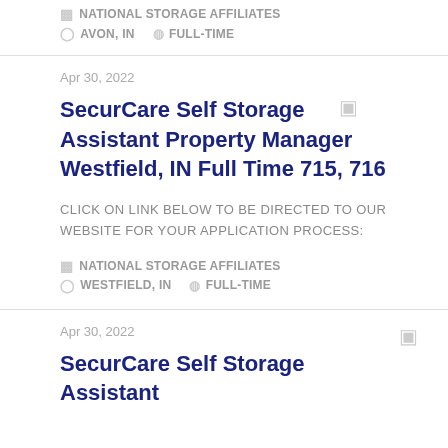NATIONAL STORAGE AFFILIATES
AVON, IN   FULL-TIME
Apr 30, 2022
SecurCare Self Storage Assistant Property Manager Westfield, IN Full Time 715, 716
CLICK ON LINK BELOW TO BE DIRECTED TO OUR WEBSITE FOR YOUR APPLICATION PROCESS:
NATIONAL STORAGE AFFILIATES
WESTFIELD, IN   FULL-TIME
Apr 30, 2022
SecurCare Self Storage Assistant